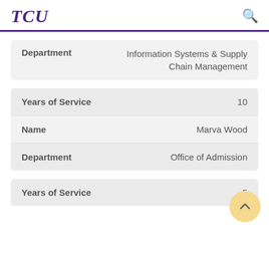TCU
| Field | Value |
| --- | --- |
| Department | Information Systems & Supply Chain Management |
| Field | Value |
| --- | --- |
| Years of Service | 10 |
| Name | Marva Wood |
| Department | Office of Admission |
| Field | Value |
| --- | --- |
| Years of Service | 5 |